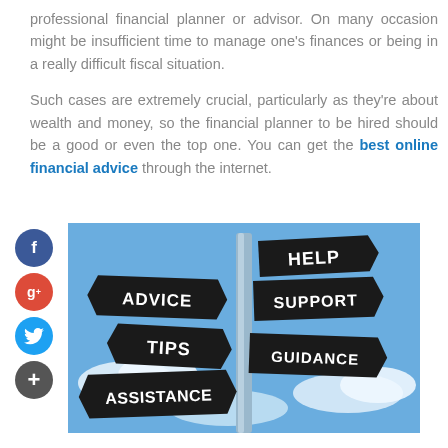professional financial planner or advisor. On many occasion might be insufficient time to manage one's finances or being in a really difficult fiscal situation.
Such cases are extremely crucial, particularly as they're about wealth and money, so the financial planner to be hired should be a good or even the top one. You can get the best online financial advice through the internet.
[Figure (photo): A signpost with multiple directional signs reading: ADVICE, HELP, SUPPORT, TIPS, ASSISTANCE, GUIDANCE — against a blue sky background.]